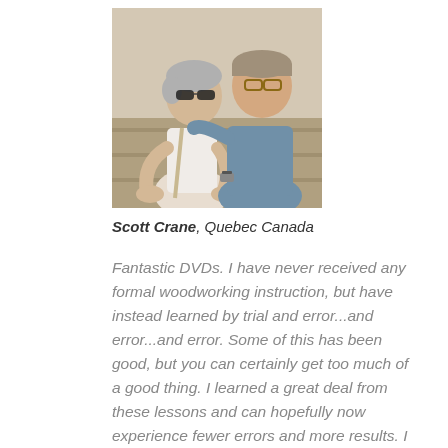[Figure (photo): A couple posing together outdoors. A woman with short grey hair wearing sunglasses and a white sleeveless top, and a man with short hair wearing glasses and a grey polo shirt. They appear to be sitting on stone steps.]
Scott Crane, Quebec Canada
Fantastic DVDs. I have never received any formal woodworking instruction, but have instead learned by trial and error...and error...and error. Some of this has been good, but you can certainly get too much of a good thing. I learned a great deal from these lessons and can hopefully now experience fewer errors and more results. I was very impressed with